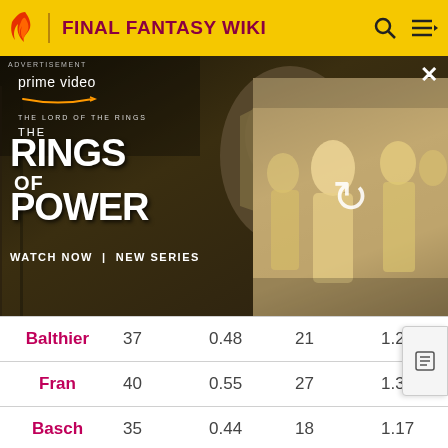FINAL FANTASY WIKI
[Figure (screenshot): Amazon Prime Video advertisement for 'The Lord of the Rings: The Rings of Power' showing a dark fantasy character and a reload icon overlay on the right panel. Text includes 'prime video', 'THE LORD OF THE RINGS', 'THE RINGS OF POWER', 'WATCH NOW | NEW SERIES'. Labeled ADVERTISEMENT.]
| Character | Col2 | Col3 | Col4 | Col5 |
| --- | --- | --- | --- | --- |
| Balthier | 37 | 0.48 | 21 | 1.28 |
| Fran | 40 | 0.55 | 27 | 1.36 |
| Basch | 35 | 0.44 | 18 | 1.17 |
| Ashe | 46 | 0.57 | 30 | 1.46 |
| Penelo | 63 | 0.55 | 22 | 1.52 |
| Reks | 43 | 0.62 |  |  |